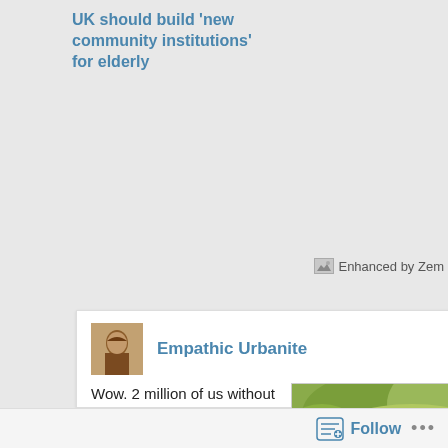UK should build 'new community institutions' for elderly
[Figure (screenshot): Enhanced by Zemanta logo/badge with small image icon]
[Figure (illustration): Avatar thumbnail of Empathic Urbanite user profile photo]
Empathic Urbanite
Wow. 2 million of us without carers! When I started this enterprise I knew that we were an ageing population and there'd be a lot of need for care in the future. But I hadn't considered
[Figure (photo): Photo of an elderly woman with grey hair being hugged from behind by a younger man, both smiling, with green foliage in background]
Follow ...